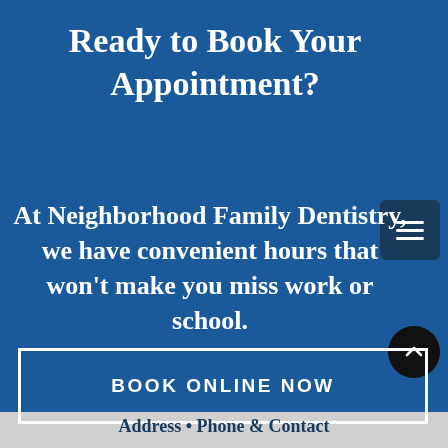Ready to Book Your Appointment?
At Neighborhood Family Dentistry, we have convenient hours that won't make you miss work or school.
BOOK ONLINE NOW
Address • Phone & Contact